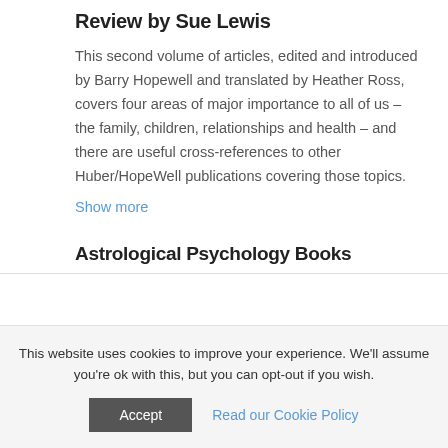Review by Sue Lewis
This second volume of articles, edited and introduced by Barry Hopewell and translated by Heather Ross, covers four areas of major importance to all of us – the family, children, relationships and health – and there are useful cross-references to other Huber/HopeWell publications covering those topics.
Show more
Astrological Psychology Books
This website uses cookies to improve your experience. We'll assume you're ok with this, but you can opt-out if you wish.
Accept
Read our Cookie Policy